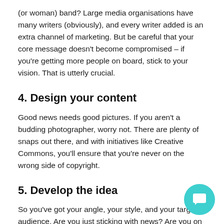(or woman) band? Large media organisations have many writers (obviously), and every writer added is an extra channel of marketing. But be careful that your core message doesn't become compromised – if you're getting more people on board, stick to your vision. That is utterly crucial.
4. Design your content
Good news needs good pictures. If you aren't a budding photographer, worry not. There are plenty of snaps out there, and with initiatives like Creative Commons, you'll ensure that you're never on the wrong side of copyright.
5. Develop the idea
So you've got your angle, your style, and your target audience. Are you just sticking with news? Are you on reporting on dressage techniques, or the flavour of ch e audience like to eat too? Major newspapers include puzzles,